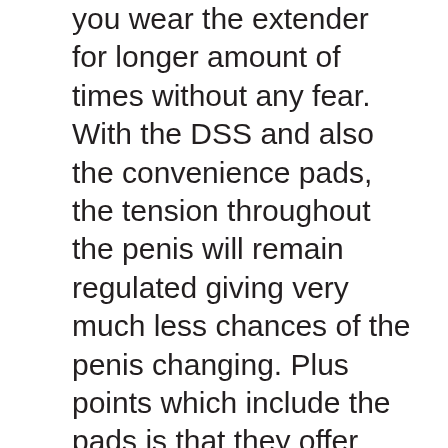you wear the extender for longer amount of times without any fear. With the DSS and also the convenience pads, the tension throughout the penis will remain regulated giving very much less chances of the penis changing. Plus points which include the pads is that they offer maximum convenience while also giving a much more protected suitable for the penis. The top qualities which this extender has will most certainly provide you the best outcome feasible than any other extender around.
Refund guarantee: There is no business brand on the market who ensures a cash back policy. Just the brands who have actually produced an item with complete attention to detail to make certain that the